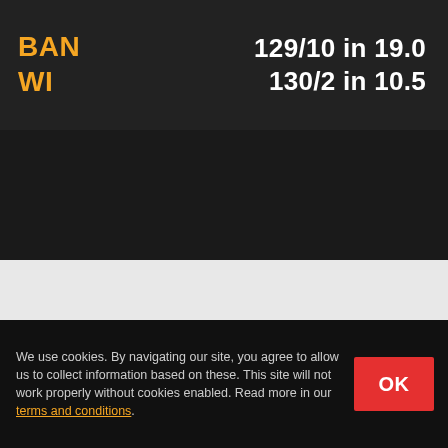BAN
WI
129/10 in 19.0
130/2 in 10.5
[Figure (other): Light grey placeholder/ad content area]
BAN VS WI MATCH PREDICTION
Bangladesh To Win the Match, 1.62
We use cookies. By navigating our site, you agree to allow us to collect information based on these. This site will not work properly without cookies enabled. Read more in our terms and conditions.